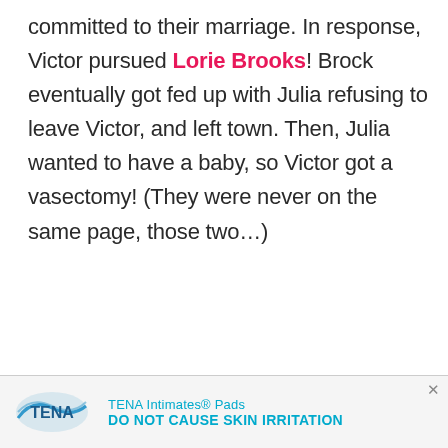committed to their marriage. In response, Victor pursued Lorie Brooks! Brock eventually got fed up with Julia refusing to leave Victor, and left town. Then, Julia wanted to have a baby, so Victor got a vasectomy! (They were never on the same page, those two…)
[Figure (other): TENA advertisement banner showing TENA logo and text 'TENA Intimates® Pads DO NOT CAUSE SKIN IRRITATION']